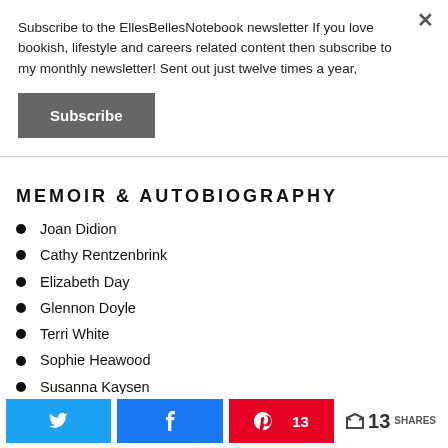Subscribe to the EllesBellesNotebook newsletter If you love bookish, lifestyle and careers related content then subscribe to my monthly newsletter! Sent out just twelve times a year,
Subscribe
MEMOIR & AUTOBIOGRAPHY
Joan Didion
Cathy Rentzenbrink
Elizabeth Day
Glennon Doyle
Terri White
Sophie Heawood
Susanna Kaysen
Twitter share | Facebook share | Pinterest 13 | < 13 SHARES